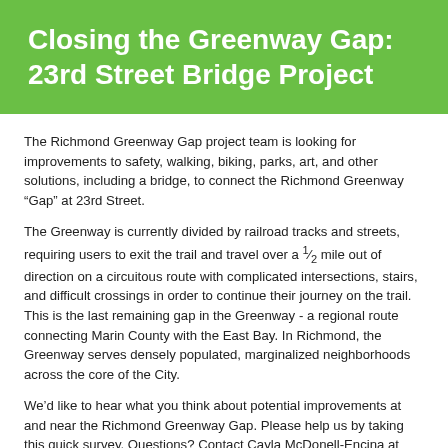Closing the Greenway Gap: 23rd Street Bridge Project
The Richmond Greenway Gap project team is looking for improvements to safety, walking, biking, parks, art, and other solutions, including a bridge, to connect the Richmond Greenway “Gap” at 23rd Street.
The Greenway is currently divided by railroad tracks and streets, requiring users to exit the trail and travel over a ½ mile out of direction on a circuitous route with complicated intersections, stairs, and difficult crossings in order to continue their journey on the trail. This is the last remaining gap in the Greenway - a regional route connecting Marin County with the East Bay. In Richmond, the Greenway serves densely populated, marginalized neighborhoods across the core of the City.
We’d like to hear what you think about potential improvements at and near the Richmond Greenway Gap. Please help us by taking this quick survey. Questions? Contact Cayla McDonell-Encina at cmcdonell@civicwell.org.